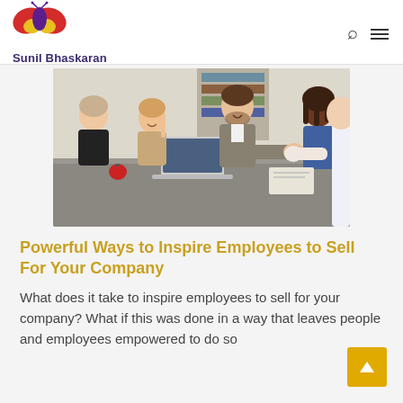[Figure (logo): Butterfly logo in red, yellow, purple colors above the text 'Sunil Bhaskaran']
Sunil Bhaskaran
[Figure (photo): Business meeting photo: group of diverse people around a conference table with a laptop, two people shaking hands in the foreground]
Powerful Ways to Inspire Employees to Sell For Your Company
What does it take to inspire employees to sell for your company? What if this was done in a way that leaves people and employees empowered to do so